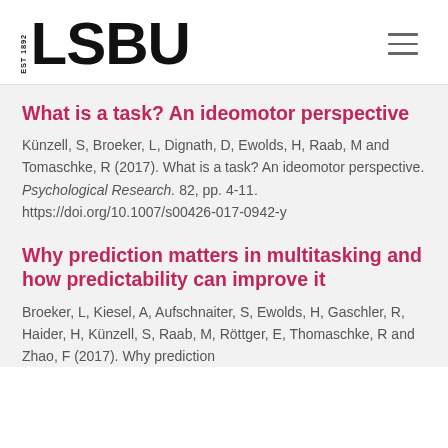[Figure (logo): LSBU (London South Bank University) logo with EST 1892 text]
What is a task? An ideomotor perspective
Künzell, S, Broeker, L, Dignath, D, Ewolds, H, Raab, M and Tomaschke, R (2017). What is a task? An ideomotor perspective. Psychological Research. 82, pp. 4-11. https://doi.org/10.1007/s00426-017-0942-y
Why prediction matters in multitasking and how predictability can improve it
Broeker, L, Kiesel, A, Aufschnaiter, S, Ewolds, H, Gaschler, R, Haider, H, Künzell, S, Raab, M, Röttger, E, Thomaschke, R and Zhao, F (2017). Why prediction